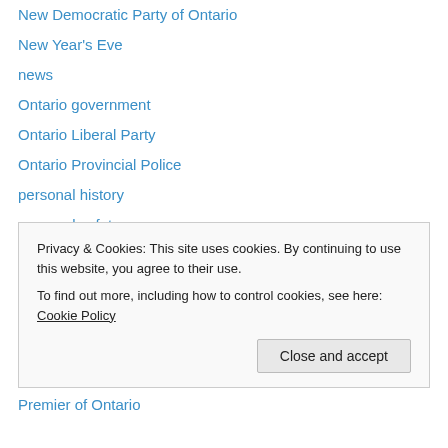New Democratic Party of Ontario
New Year's Eve
news
Ontario government
Ontario Liberal Party
Ontario Provincial Police
personal history
personal safety
phishing
photography
poetry
politics
porn
Premier of Ontario
Privacy & Cookies: This site uses cookies. By continuing to use this website, you agree to their use. To find out more, including how to control cookies, see here: Cookie Policy